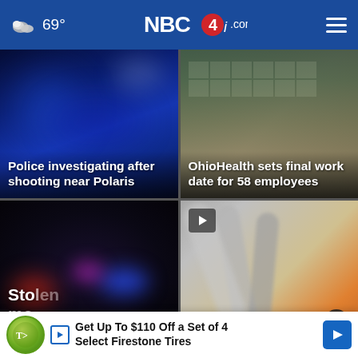NBC4i.com — 69°
[Figure (screenshot): News card: police lights in blue tones with headline 'Police investigating after shooting near Polaris']
Police investigating after shooting near Polaris
[Figure (screenshot): News card: OhioHealth building exterior with headline 'OhioHealth sets final work date for 58 employees']
OhioHealth sets final work date for 58 employees
[Figure (screenshot): News card: police car lights at night — partial headline 'Stolen...prompts search']
Sto[len]... prompts search
[Figure (screenshot): News card: close-up of metal dental/medical instruments with video play icon — partial headline '...up 44% in Black']
...up 44% in Black
Get Up To $110 Off a Set of 4 Select Firestone Tires